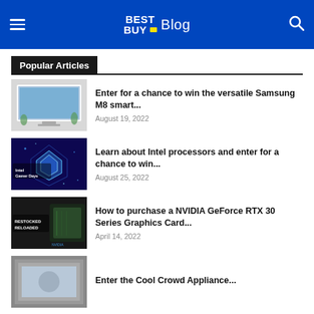Best Buy Blog
Popular Articles
Enter for a chance to win the versatile Samsung M8 smart... — August 19, 2022
Learn about Intel processors and enter for a chance to win... — August 25, 2022
How to purchase a NVIDIA GeForce RTX 30 Series Graphics Card... — April 14, 2022
Enter the Cool Crowd Appliance... (partial)